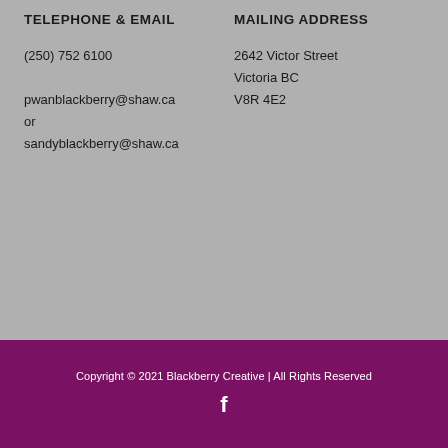TELEPHONE & EMAIL
MAILING ADDRESS
(250) 752 6100
pwanblackberry@shaw.ca
or
sandyblackberry@shaw.ca
2642 Victor Street
Victoria BC
V8R 4E2
Copyright © 2021 Blackberry Creative | All Rights Reserved